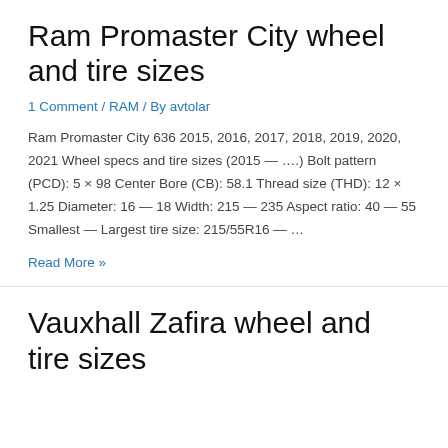Ram Promaster City wheel and tire sizes
1 Comment / RAM / By avtolar
Ram Promaster City 636 2015, 2016, 2017, 2018, 2019, 2020, 2021 Wheel specs and tire sizes (2015 — ….) Bolt pattern (PCD): 5 × 98 Center Bore (CB): 58.1 Thread size (THD): 12 × 1.25 Diameter: 16 — 18 Width: 215 — 235 Aspect ratio: 40 — 55 Smallest — Largest tire size: 215/55R16 — …
Read More »
Vauxhall Zafira wheel and tire sizes